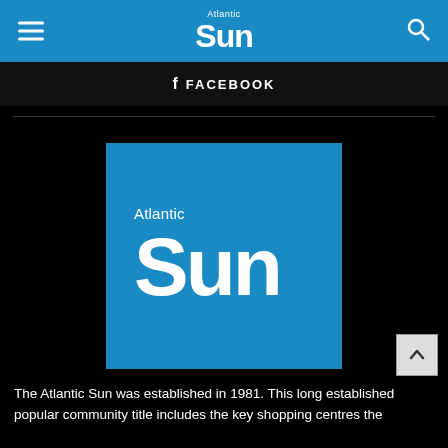Atlantic Sun - Header navigation bar
FACEBOOK
[Figure (logo): Atlantic Sun newspaper logo — white text on blue background, with 'Atlantic' in small text above large bold 'Sun' wordmark]
The Atlantic Sun was established in 1981. This long established popular community title includes the key shopping centres the